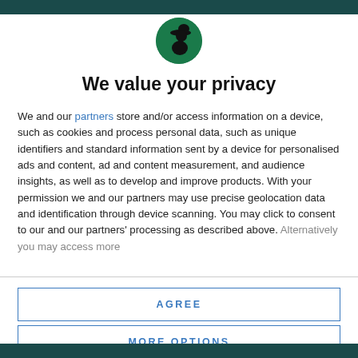[Figure (logo): Circular green logo with a black silhouette of a person wearing a hat (witch/detective style) facing right]
We value your privacy
We and our partners store and/or access information on a device, such as cookies and process personal data, such as unique identifiers and standard information sent by a device for personalised ads and content, ad and content measurement, and audience insights, as well as to develop and improve products. With your permission we and our partners may use precise geolocation data and identification through device scanning. You may click to consent to our and our partners' processing as described above. Alternatively you may access more
AGREE
MORE OPTIONS